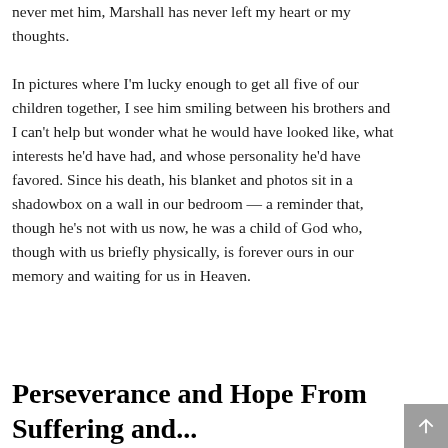never met him, Marshall has never left my heart or my thoughts.
In pictures where I'm lucky enough to get all five of our children together, I see him smiling between his brothers and I can't help but wonder what he would have looked like, what interests he'd have had, and whose personality he'd have favored. Since his death, his blanket and photos sit in a shadowbox on a wall in our bedroom — a reminder that, though he's not with us now, he was a child of God who, though with us briefly physically, is forever ours in our memory and waiting for us in Heaven.
Perseverance and Hope From Suffering and...